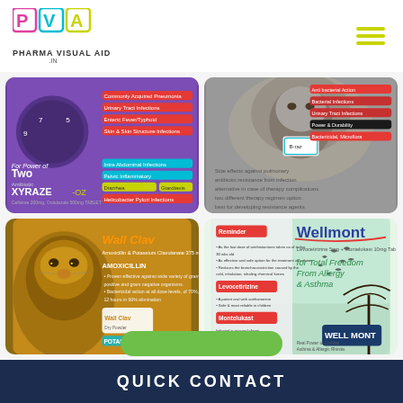[Figure (logo): Pharma Visual Aid logo with PVA letters in colored squares and tagline PHARMA VISUAL AID .IN]
[Figure (screenshot): Xyraze-OZ pharmaceutical visual aid card showing product name, indication details, with clock/medication imagery]
[Figure (screenshot): Lion-themed pharmaceutical visual aid card with product details and red label strips]
[Figure (screenshot): Wall Clav pharmaceutical visual aid card with lion close-up imagery, amoxicillin and potassium clavulanate details]
[Figure (screenshot): Wellmont pharmaceutical visual aid card - for total freedom from allergy and asthma, birds silhouette tree imagery]
[Figure (illustration): WhatsApp contact icon (green circle with phone handset)]
[Figure (illustration): Up arrow button in yellow/lime green rounded square]
QUICK CONTACT